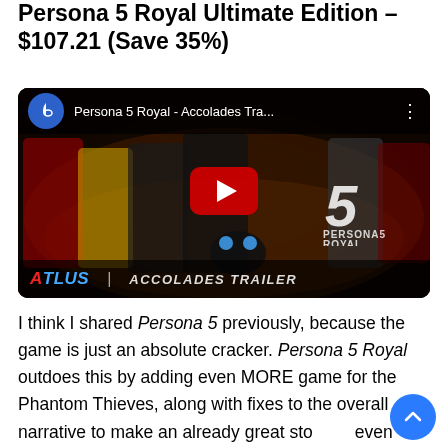Persona 5 Royal Ultimate Edition – $107.21 (Save 35%)
[Figure (screenshot): YouTube video thumbnail for 'Persona 5 Royal - Accolades Tra...' showing the PlayStation channel icon, video title, characters from Persona 5 Royal, a YouTube play button, the P5 Royal logo, and the Atlus Accolades Trailer branding at the bottom.]
I think I shared Persona 5 previously, because the game is just an absolute cracker. Persona 5 Royal outdoes this by adding even MORE game for the Phantom Thieves, along with fixes to the overall narrative to make an already great story even better.